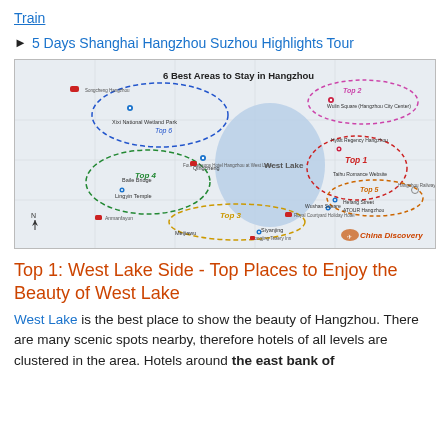Train
5 Days Shanghai Hangzhou Suzhou Highlights Tour
[Figure (map): Map titled '6 Best Areas to Stay in Hangzhou' showing West Lake area with 6 labeled top areas circled in different colors: Top 1 (red dashed, West Lake side), Top 2 (pink/dashed, Wulin Square/Hangzhou City Center), Top 3 (yellow dashed, south, Meijiawu/Siyanjing area), Top 4 (green dashed, Baile Bridge/Lingyin Temple), Top 5 (orange dashed, Hefang Street area), Top 6 (blue dashed, Xixi National Wetland Park). China Discovery logo in lower right.]
Top 1: West Lake Side - Top Places to Enjoy the Beauty of West Lake
West Lake is the best place to show the beauty of Hangzhou. There are many scenic spots nearby, therefore hotels of all levels are clustered in the area. Hotels around the east bank of